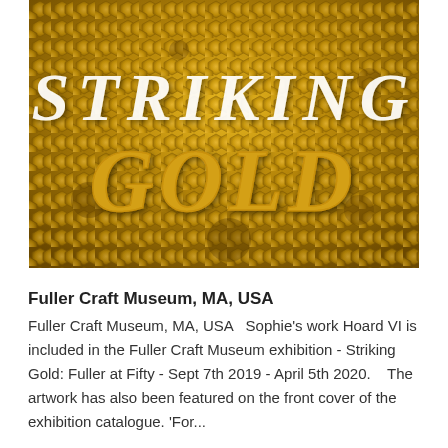[Figure (photo): Photo of a golden honeycomb texture background with the text 'STRIKING' in white serif italic lettering and 'GOLD' in large golden serif lettering overlaid on the image.]
Fuller Craft Museum, MA, USA
Fuller Craft Museum, MA, USA   Sophie's work Hoard VI is included in the Fuller Craft Museum exhibition - Striking Gold: Fuller at Fifty - Sept 7th 2019 - April 5th 2020.   The artwork has also been featured on the front cover of the exhibition catalogue. 'For...